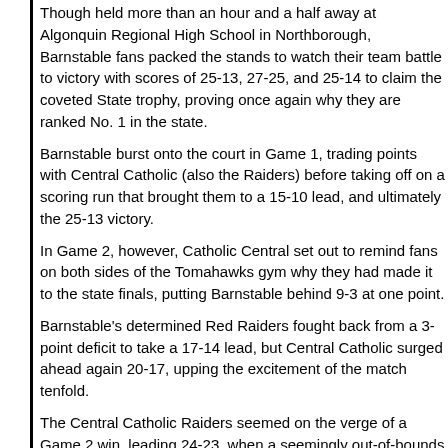Though held more than an hour and a half away at Algonquin Regional High School in Northborough, Barnstable fans packed the stands to watch their team battle to victory with scores of 25-13, 27-25, and 25-14 to claim the coveted State trophy, proving once again why they are ranked No. 1 in the state.
Barnstable burst onto the court in Game 1, trading points with Central Catholic (also the Raiders) before taking off on a scoring run that brought them to a 15-10 lead, and ultimately the 25-13 victory.
In Game 2, however, Catholic Central set out to remind fans on both sides of the Tomahawks gym why they had made it to the state finals, putting Barnstable behind 9-3 at one point.
Barnstable's determined Red Raiders fought back from a 3-point deficit to take a 17-14 lead, but Central Catholic surged ahead again 20-17, upping the excitement of the match tenfold.
The Central Catholic Raiders seemed on the verge of a Game 2 win, leading 24-23, when a seemingly out-of-bounds call on Barnstable was reversed, giving Barnstable the point, and a much-needed boost.
After Central snagged the next point to eke ahead 25-24, the Red Raiders claimed the next three to win the game and lead the overall match 2-0.
Game three saw stellar performances from each member of Barnstable's team as the Red Raiders blasted away from a 12-12 tie to score eight unanswered points in what became the 25-14 win to sweep the match, their victory sending fans into thunderous applause.